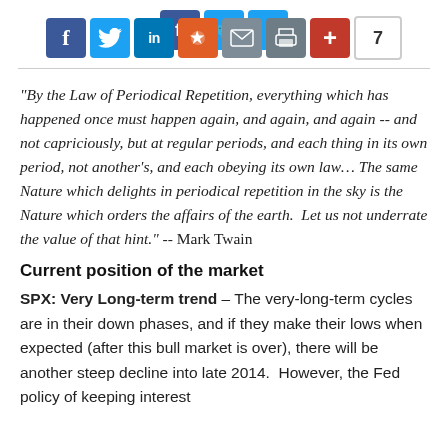[Figure (other): Social sharing icon bar with Facebook, Twitter, LinkedIn, Reddit, Email, Print, Plus buttons and share count of 7]
“By the Law of Periodical Repetition, everything which has happened once must happen again, and again, and again -- and not capriciously, but at regular periods, and each thing in its own period, not another’s, and each obeying its own law… The same Nature which delights in periodical repetition in the sky is the Nature which orders the affairs of the earth.  Let us not underrate the value of that hint.” -- Mark Twain
Current position of the market
SPX: Very Long-term trend – The very-long-term cycles are in their down phases, and if they make their lows when expected (after this bull market is over), there will be another steep decline into late 2014.  However, the Fed policy of keeping interest